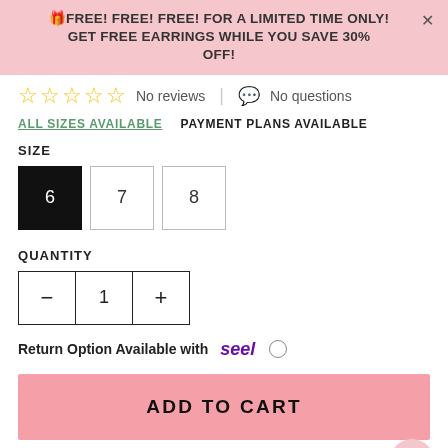🎁FREE! FREE! FREE! FOR A LIMITED TIME ONLY! × GET FREE EARRINGS WHILE YOU SAVE 30% OFF!
☆☆☆☆☆ No reviews | 💬 No questions
ALL SIZES AVAILABLE   PAYMENT PLANS AVAILABLE
SIZE
6  7  8
QUANTITY
— 1 +
Return Option Available with seel ○
ADD TO CART
Uh oh! Almost gone.